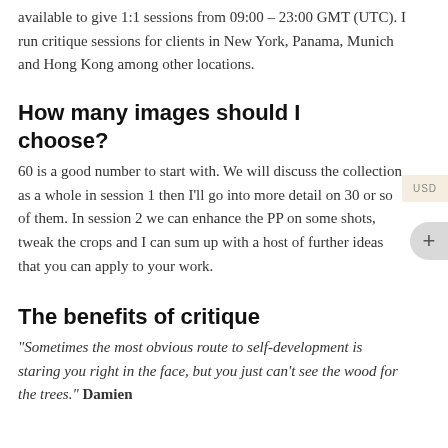available to give 1:1 sessions from 09:00 – 23:00 GMT (UTC). I run critique sessions for clients in New York, Panama, Munich and Hong Kong among other locations.
How many images should I choose?
60 is a good number to start with. We will discuss the collection as a whole in session 1 then I'll go into more detail on 30 or so of them. In session 2 we can enhance the PP on some shots, tweak the crops and I can sum up with a host of further ideas that you can apply to your work.
The benefits of critique
“Sometimes the most obvious route to self-development is staring you right in the face, but you just can’t see the wood for the trees.” Damien